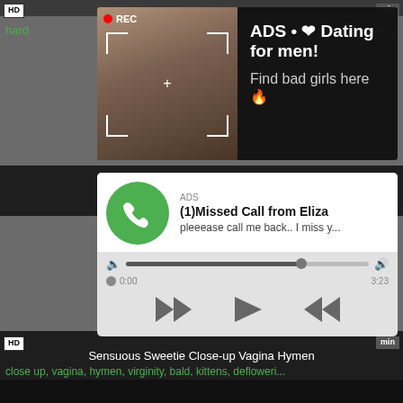[Figure (screenshot): Screenshot of a pornographic website with advertising overlays. Top ad shows a woman taking a selfie with REC indicator and text 'ADS • ❤ Dating for men! Find bad girls here 🔥'. Bottom ad shows a fake missed call notification from 'Eliza' with audio player controls. Background shows video thumbnail links including 'Sensuous Sweetie Close-up Vagina Hymen' with tags: close up, vagina, hymen, virginity, bald, kittens, defloweri...]